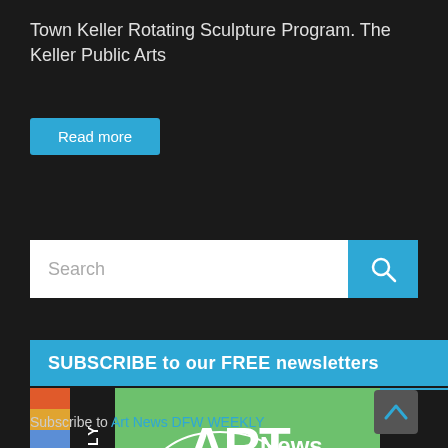Town Keller Rotating Sculpture Program. The Keller Public Arts
Read more
[Figure (screenshot): Search input field with cyan search button containing a magnifying glass icon]
SUBSCRIBE to our FREE newsletters
[Figure (logo): Art News DFW Weekly newsletter banner with multicolor strips, WEEKLY label, and green background with Art News DFW logo]
Subscribe to Art News DFW WEEKLY